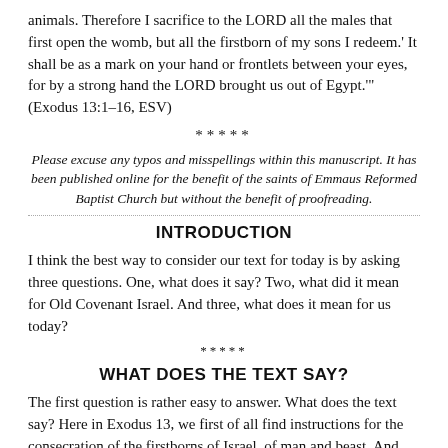animals. Therefore I sacrifice to the LORD all the males that first open the womb, but all the firstborn of my sons I redeem.' It shall be as a mark on your hand or frontlets between your eyes, for by a strong hand the LORD brought us out of Egypt.'" (Exodus 13:1–16, ESV)
*****
Please excuse any typos and misspellings within this manuscript. It has been published online for the benefit of the saints of Emmaus Reformed Baptist Church but without the benefit of proofreading.
INTRODUCTION
I think the best way to consider our text for today is by asking three questions. One, what does it say? Two, what did it mean for Old Covenant Israel. And three, what does it mean for us today?
*****
WHAT DOES THE TEXT SAY?
The first question is rather easy to answer. What does the text say? Here in Exodus 13, we first of all find instructions for the consecration of the firstborns of Israel, of man and beast. And secondly, we encounter even more instructions regarding the observance of the Feast of Unleavened Bread. In fact, our text